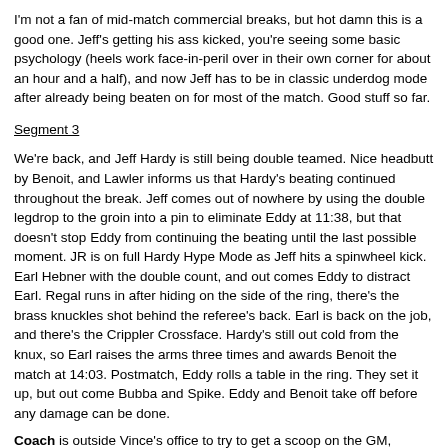I'm not a fan of mid-match commercial breaks, but hot damn this is a good one. Jeff's getting his ass kicked, you're seeing some basic psychology (heels work face-in-peril over in their own corner for about an hour and a half), and now Jeff has to be in classic underdog mode after already being beaten on for most of the match. Good stuff so far.
Segment 3
We're back, and Jeff Hardy is still being double teamed. Nice headbutt by Benoit, and Lawler informs us that Hardy's beating continued throughout the break. Jeff comes out of nowhere by using the double legdrop to the groin into a pin to eliminate Eddy at 11:38, but that doesn't stop Eddy from continuing the beating until the last possible moment. JR is on full Hardy Hype Mode as Jeff hits a spinwheel kick. Earl Hebner with the double count, and out comes Eddy to distract Earl. Regal runs in after hiding on the side of the ring, there's the brass knuckles shot behind the referee's back. Earl is back on the job, and there's the Crippler Crossface. Hardy's still out cold from the knux, so Earl raises the arms three times and awards Benoit the match at 14:03. Postmatch, Eddy rolls a table in the ring. They set it up, but out come Bubba and Spike. Eddy and Benoit take off before any damage can be done.
Coach is outside Vince's office to try to get a scoop on the GM, Coach speculates on Mick Foley and Vince's brother. Heyman is on his way to Vince's office, and apparently Heyman is a possibility after his experience with ECW. Heyman enters the office, and a pretty female technician tells Vince the new GM has arrived.
----------
COMMERCIAL BREAK
----------
Eh, I'd have rather seen a clean finish to the match (or at least Benoit cheating